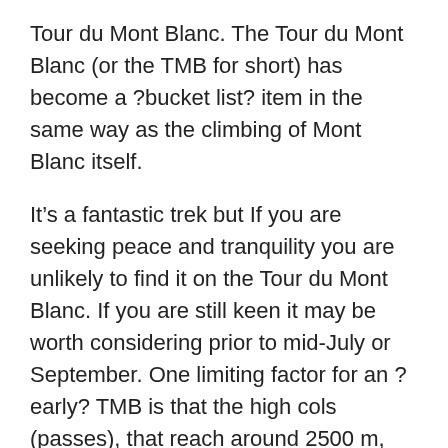Tour du Mont Blanc. The Tour du Mont Blanc (or the TMB for short) has become a ?bucket list? item in the same way as the climbing of Mont Blanc itself.
It’s a fantastic trek but If you are seeking peace and tranquility you are unlikely to find it on the Tour du Mont Blanc. If you are still keen it may be worth considering prior to mid-July or September. One limiting factor for an ?early? TMB is that the high cols (passes), that reach around 2500 m, may hold large areas of snow into late June. This may mean having to cross large snow fields that may be frozen hard in the morning. Here a slip may have serious consequences. An ice axe and even